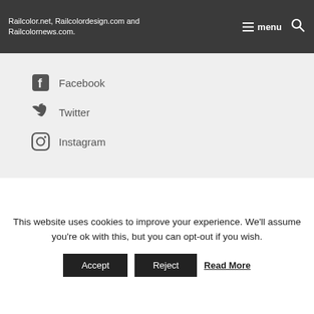Railcolor.net, Railcolordesign.com and Railcolornews.com. menu
Facebook
Twitter
Instagram
ABOUT US
Railcolornews.com is Railcolor's online magazine about new product development in the European railway
This website uses cookies to improve your experience. We'll assume you're ok with this, but you can opt-out if you wish. Accept Reject Read More